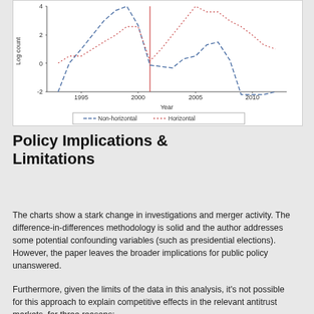[Figure (line-chart): Line chart showing log count of merger investigations by year (1993-2012) for Non-horizontal and Horizontal mergers, with a vertical red line around 2001.]
Policy Implications & Limitations
The charts show a stark change in investigations and merger activity. The difference-in-differences methodology is solid and the author addresses some potential confounding variables (such as presidential elections). However, the paper leaves the broader implications for public policy unanswered.
Furthermore, given the limits of the data in this analysis, it’s not possible for this approach to explain competitive effects in the relevant antitrust markets, for three reasons: